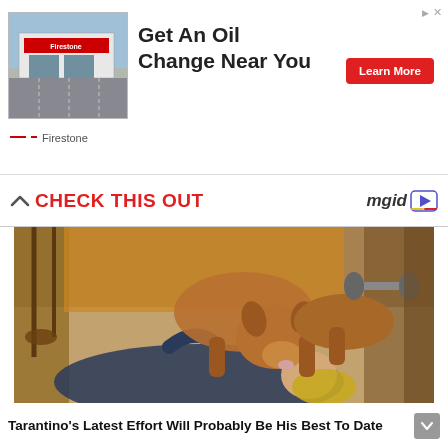[Figure (screenshot): Advertisement banner for Firestone oil change service. Shows a Firestone store photo on the left, text 'Get An Oil Change Near You' in the center, a red 'Learn More' button on the right, and the Firestone brand name at the bottom left with a red dash logo.]
CHECK THIS OUT
[Figure (photo): A person lying on the floor on their back being licked on the face by a tan/brown pit bull dog. The setting appears to be indoors with wooden chairs, carpet flooring, and what looks like weights in the background.]
Tarantino's Latest Effort Will Probably Be His Best To Date